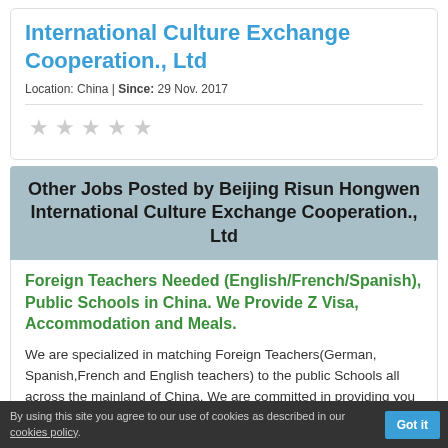International Culture Exchange Cooperation., Ltd
Location: China | Since: 29 Nov. 2017
[Figure (other): Five empty star rating icons]
Other Jobs Posted by Beijing Risun Hongwen International Culture Exchange Cooperation., Ltd
Foreign Teachers Needed (English/French/Spanish), Public Schools in China. We Provide Z Visa, Accommodation and Meals.
We are specialized in matching Foreign Teachers(German, Spanish,French and English teachers) to the public Schools all across the mainland of China. We are committed in providing you as a Foreign English...
By using this site you agree to our use of cookies as described in our cookies policy. Got it